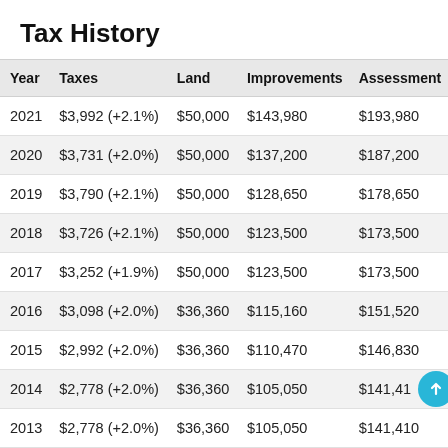Tax History
| Year | Taxes | Land | Improvements | Assessment |
| --- | --- | --- | --- | --- |
| 2021 | $3,992 (+2.1%) | $50,000 | $143,980 | $193,980 |
| 2020 | $3,731 (+2.0%) | $50,000 | $137,200 | $187,200 |
| 2019 | $3,790 (+2.1%) | $50,000 | $128,650 | $178,650 |
| 2018 | $3,726 (+2.1%) | $50,000 | $123,500 | $173,500 |
| 2017 | $3,252 (+1.9%) | $50,000 | $123,500 | $173,500 |
| 2016 | $3,098 (+2.0%) | $36,360 | $115,160 | $151,520 |
| 2015 | $2,992 (+2.0%) | $36,360 | $110,470 | $146,830 |
| 2014 | $2,778 (+2.0%) | $36,360 | $105,050 | $141,41… |
| 2013 | $2,778 (+2.0%) | $36,360 | $105,050 | $141,410 |
| 2012 | $2,778 (+2.0%) | $36,360 | $105,050 | $141,410 |